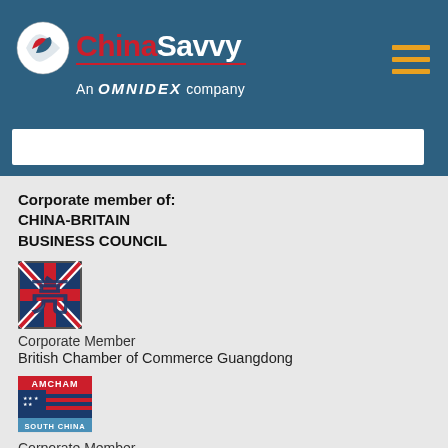ChinaSavvy — An OMNIDEX company
[Figure (logo): ChinaSavvy logo with circular emblem and 'An OMNIDEX company' tagline on teal header bar]
Corporate member of:
CHINA-BRITAIN
BUSINESS COUNCIL
[Figure (logo): China-Britain Business Council logo — red/blue Chinese character with Union Jack]
Corporate Member
British Chamber of Commerce Guangdong
[Figure (logo): AMCHAM South China logo — American flag design with 'AMCHAM SOUTH CHINA' text]
Corporate Member
American Chamber of Commerce in South China